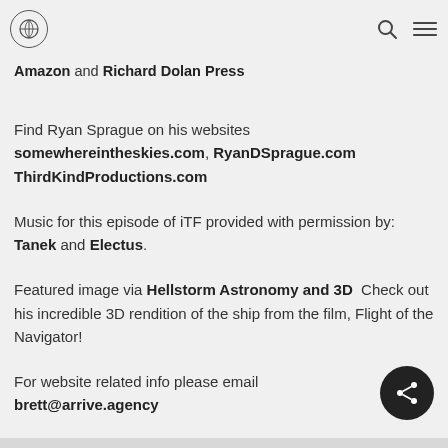[Logo] [Search icon] [Menu icon]
Amazon and Richard Dolan Press
Find Ryan Sprague on his websites somewhereintheskies.com, RyanDSprague.com, ThirdKindProductions.com
Music for this episode of iTF provided with permission by: Tanek and Electus.
Featured image via Hellstorm Astronomy and 3D  Check out his incredible 3D rendition of the ship from the film, Flight of the Navigator!
For website related info please email brett@arrive.agency